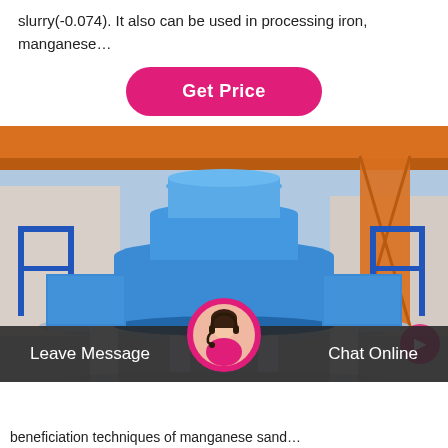slurry(-0.074). It also can be used in processing iron, manganese…
[Figure (other): A pink/magenta rounded rectangle button labeled 'Get Price']
[Figure (photo): Large industrial blue vertical shaft impact crusher or sand-making machine, mounted on a white base frame with legs, photographed outdoors in a factory yard. An orange overhead crane beam is visible at the top. Blue metal railings flank the machine on each side.]
Leave Message   Chat Online
beneficiation techniques of manganese sand…